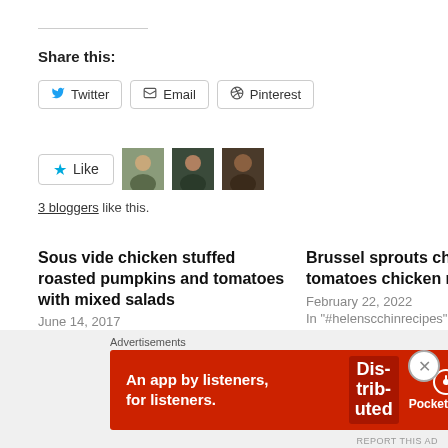Share this:
Twitter  Email  Pinterest
[Figure (other): Like button with star icon and three blogger avatar thumbnails]
3 bloggers like this.
Sous vide chicken stuffed roasted pumpkins and tomatoes with mixed salads
June 14, 2017
In "#helenscchinrecipes"
Brussel sprouts cherries tomatoes chicken roulade
February 22, 2022
In "#helenscchinrecipes"
Apple cranberry stuffed chicken roulade with
[Figure (infographic): Pocket Casts advertisement banner: red background with text 'An app by listeners, for listeners.' and Pocket Casts logo with phone image showing 'Dis-trib-uted' text]
Advertisements